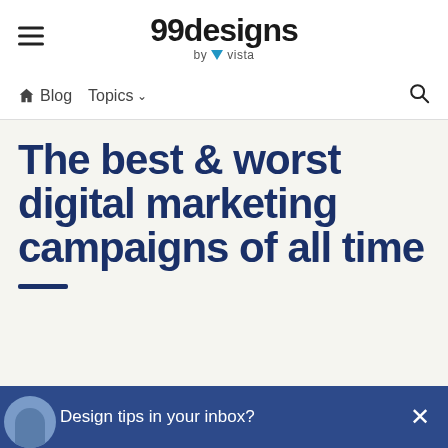99designs by vista
Blog  Topics
The best & worst digital marketing campaigns of all time
Design tips in your inbox?